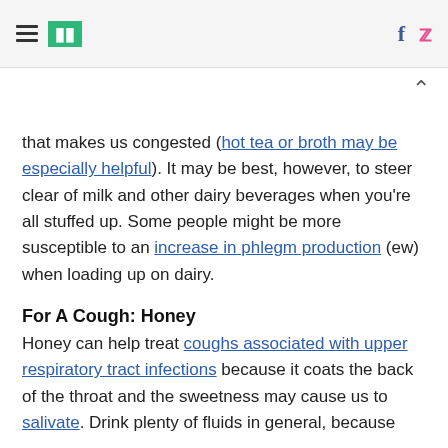HuffPost
that makes us congested (hot tea or broth may be especially helpful). It may be best, however, to steer clear of milk and other dairy beverages when you're all stuffed up. Some people might be more susceptible to an increase in phlegm production (ew) when loading up on dairy.
For A Cough: Honey
Honey can help treat coughs associated with upper respiratory tract infections because it coats the back of the throat and the sweetness may cause us to salivate. Drink plenty of fluids in general, because